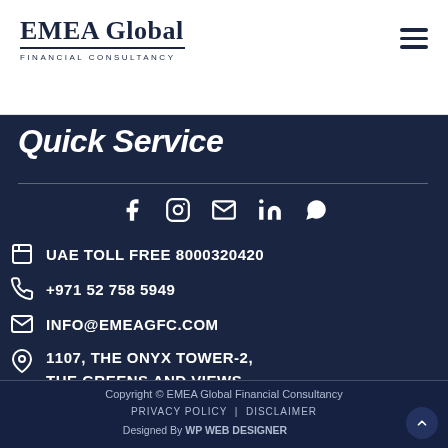EMEA Global Financial Consultancy
Quick Service
UAE TOLL FREE 8000320420
+971 52 758 5949
INFO@EMEAGFC.COM
1107, THE ONYX TOWER-2, THE GREENS AND VIEWS, DUBAI, UAE
Copyright © EMEA Global Financial Consultancy
PRIVACY POLICY | DISCLAIMER
Designed By WP WEB DESIGNER